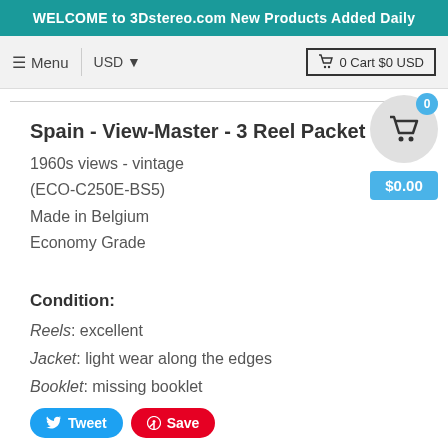WELCOME to 3Dstereo.com New Products Added Daily
Spain - View-Master - 3 Reel Packet
1960s views - vintage
(ECO-C250E-BS5)
Made in Belgium
Economy Grade
Condition:
Reels: excellent
Jacket: light wear along the edges
Booklet: missing booklet